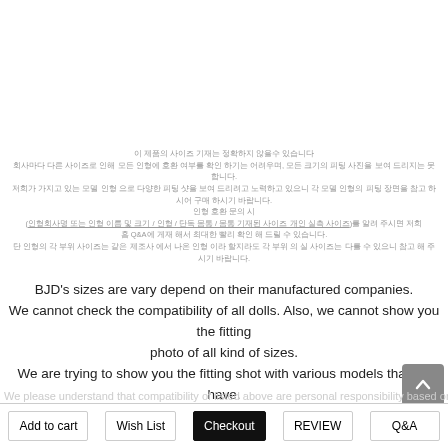[Korean text block about BJD doll size compatibility and Q&A instructions]
BJD's sizes are vary depend on their manufactured companies. We cannot check the compatibility of all dolls. Also, we cannot show you the fitting photo of all kind of sizes. We are trying to show you the fitting shot with various models that we have. Please refer each model doll's fitting scene for your purchase. If customer wants the compatibility of dolls, Please let us have your doll's information such as: company/size/type name/detail measurement sizes by Q&A board of our website.
Add to cart | Wish List | Checkout | REVIEW | Q&A